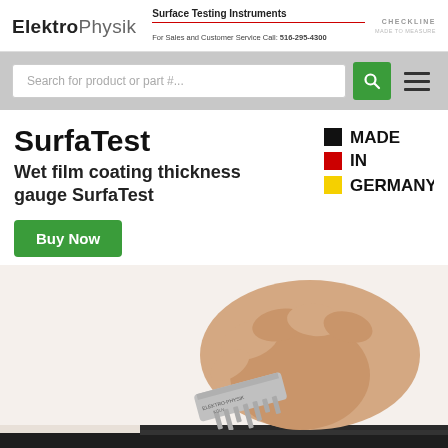ElektroPhysik | Surface Testing Instruments | For Sales and Customer Service Call: 516-295-4300 | CHECKLINE MADE TO MEASURE
Search for product or part #...
SurfaTest
Wet film coating thickness gauge SurfaTest
Buy Now
[Figure (illustration): Made in Germany badge with black, red, and yellow squares next to the words MADE IN GERMANY]
[Figure (photo): A hand holding a wet film coating thickness gauge (SurfaTest comb gauge by ElektroPhysik, Köln) being applied to a surface]